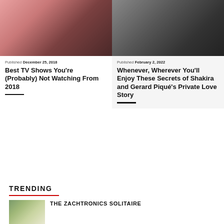[Figure (photo): Two people, woman in pink top and curly-haired man, close together]
Published December 25, 2018
Best TV Shows You're (Probably) Not Watching From 2018
[Figure (photo): Group of people in dark clothing at an event]
Published February 2, 2022
Whenever, Wherever You'll Enjoy These Secrets of Shakira and Gerard Piqué's Private Love Story
TRENDING
[Figure (photo): Thumbnail image of board game Zachtronics Solitaire]
THE ZACHTRONICS SOLITAIRE